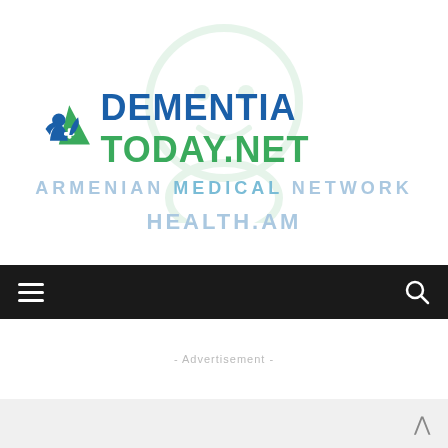[Figure (logo): Dementia Today .net logo with icon of person with leaf and cross, green triangle/leaf shape, and watermark of face/figure. Below the logo are faded watermark texts: ARMENIAN MEDICAL NETWORK and HEALTH.AM]
ARMENIAN MEDICAL NETWORK
HEALTH.AM
- Advertisement -